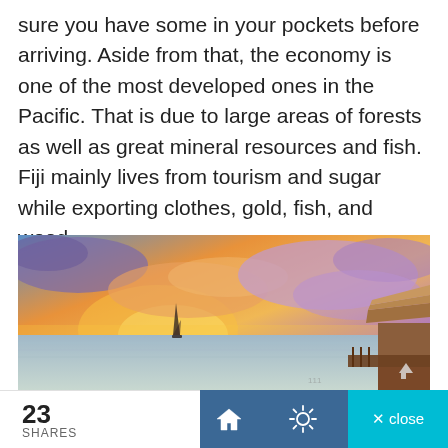sure you have some in your pockets before arriving. Aside from that, the economy is one of the most developed ones in the Pacific. That is due to large areas of forests as well as great mineral resources and fish. Fiji mainly lives from tourism and sugar while exporting clothes, gold, fish, and wood.
[Figure (photo): A tropical sunset scene over calm ocean water with dramatic orange and purple clouds. A sailboat is visible in the distance on the left, and a thatched-roof overwater bungalow structure is visible on the right.]
23 SHARES   [home icon]   [sun/settings icon]   × close